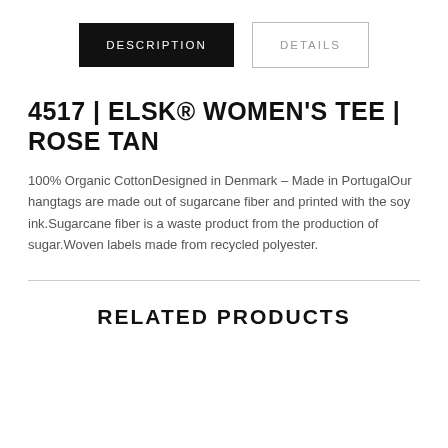DESCRIPTION | DETAILS
4517 | ELSK® WOMEN'S TEE | ROSE TAN
100% Organic CottonDesigned in Denmark – Made in PortugalOur hangtags are made out of sugarcane fiber and printed with the soy ink.Sugarcane fiber is a waste product from the production of sugar.Woven labels made from recycled polyester.
RELATED PRODUCTS